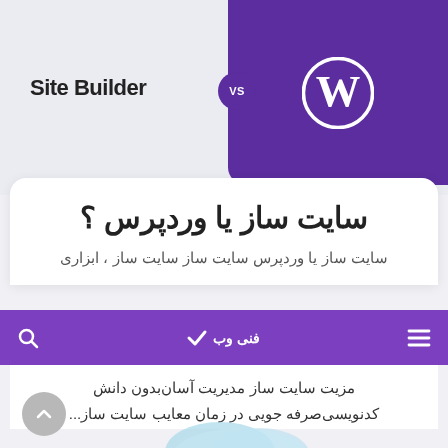[Figure (infographic): Site Builder vs WordPress comparison header with purple panel on right containing WordPress logo, VS badge in middle, and 'Site Builder' text on left gray background]
سایت ساز یا وردپرس ؟
سایت ساز یا وردپرس سایت ساز سایت ساز ، ابزاری
[Figure (logo): Purple navigation bar with search icon, site logo (فنی وب with checkmark), and hamburger menu]
مزیت سایت ساز مدیریت آسان‌بدون دانش کدنویسی‌صرفه جویی در زمان معایب سایت ساز...